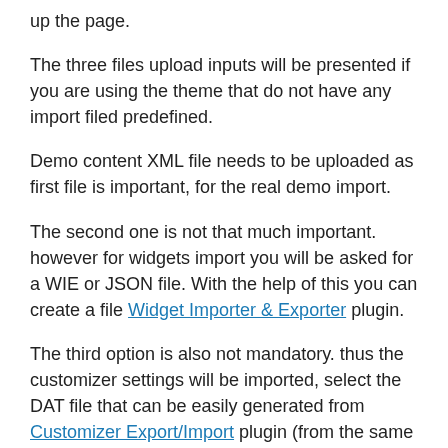up the page.
The three files upload inputs will be presented if you are using the theme that do not have any import filed predefined.
Demo content XML file needs to be uploaded as first file is important, for the real demo import.
The second one is not that much important. however for widgets import you will be asked for a WIE or JSON file. With the help of this you can create a file Widget Importer & Exporter plugin.
The third option is also not mandatory. thus the customizer settings will be imported, select the DAT file that can be easily generated from Customizer Export/Import plugin (from the same theme if and only if the export file was created than only the customizer settings will be imported.).